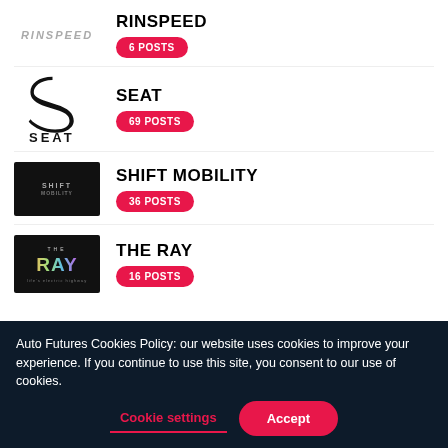[Figure (logo): RINSPEED brand logo in italic gray text]
RINSPEED
6 POSTS
[Figure (logo): SEAT brand logo with S symbol and SEAT text]
SEAT
69 POSTS
[Figure (logo): SHIFT MOBILITY logo on dark background]
SHIFT MOBILITY
36 POSTS
[Figure (logo): THE RAY logo with colorful gradient text on dark background]
THE RAY
16 POSTS
Auto Futures Cookies Policy: our website uses cookies to improve your experience. If you continue to use this site, you consent to our use of cookies.